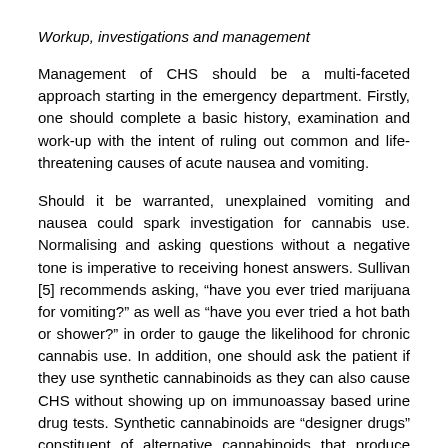Workup, investigations and management
Management of CHS should be a multi-faceted approach starting in the emergency department. Firstly, one should complete a basic history, examination and work-up with the intent of ruling out common and life-threatening causes of acute nausea and vomiting.
Should it be warranted, unexplained vomiting and nausea could spark investigation for cannabis use. Normalising and asking questions without a negative tone is imperative to receiving honest answers. Sullivan [5] recommends asking, “have you ever tried marijuana for vomiting?” as well as “have you ever tried a hot bath or shower?” in order to gauge the likelihood for chronic cannabis use. In addition, one should ask the patient if they use synthetic cannabinoids as they can also cause CHS without showing up on immunoassay based urine drug tests. Synthetic cannabinoids are “designer drugs” constituent of alternative cannabinoids that produce similar pharmacological effects to cannabis binding direct...